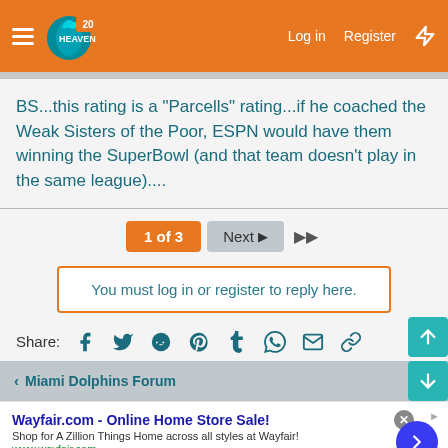FinHeaven — Log in | Register
BS...this rating is a "Parcells" rating...if he coached the Weak Sisters of the Poor, ESPN would have them winning the SuperBowl (and that team doesn't play in the same league)....
1 of 3  Next  ▶▶
You must log in or register to reply here.
Share:
Miami Dolphins Forum
Wayfair.com - Online Home Store Sale!
Shop for A Zillion Things Home across all styles at Wayfair!
www.wayfair.com